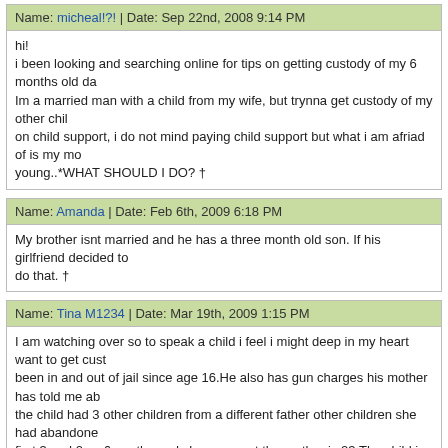Name: micheal!?! | Date: Sep 22nd, 2008 9:14 PM
hi!
i been looking and searching online for tips on getting custody of my 6 months old da
Im a married man with a child from my wife, but trynna get custody of my other chil
on child support, i do not mind paying child support but what i am afriad of is my mo
young..*WHAT SHOULD I DO? †
Name: Amanda | Date: Feb 6th, 2009 6:18 PM
My brother isnt married and he has a three month old son. If his girlfriend decided to
do that. †
Name: Tina M1234 | Date: Mar 19th, 2009 1:15 PM
I am watching over so to speak a child i feel i might deep in my heart want to get cust
been in and out of jail since age 16.He also has gun charges his mother has told me ab
the child had 3 other children from a different father other children she had abandone
first 3 and 2yrs 6months and she preganet the mother is 23.The child im talking abo
was told shed lose the kids.The mother to the father of the child took the 6 moth old
custody of the 2yr old.That the mother sluggs on her children and doesnt come see t
on 12 other people in the past that are trying to get custody too.The mother signed pa
custody of the 2yr old.She go rid of them and went to court lying that he had just car
in front of people and opening up.I feel there was abuse and neglect where he came
before court.She said she had no money or way to take care of him till the dad was
The baby was sleeping shed call and talk to him the next day.She never called at all.S
didnt abuse him and he had proper clothesWhich was her say and wasn't true.He cam
had fresh tags on them like she just went to buy them some how.He had no socks an
he had smelled.He has been at my house for over a month and they plan on him sta